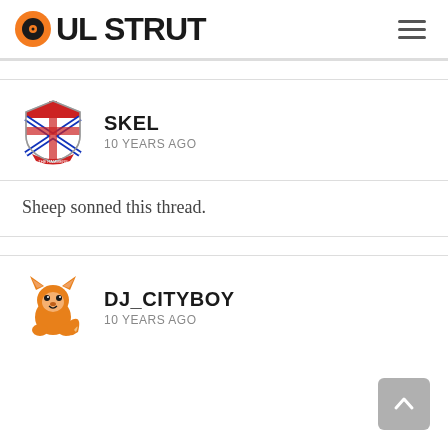SOUL STRUT
[Figure (illustration): SKEL user avatar: a shield/crest with red, blue, white UK flag design]
SKEL
10 YEARS AGO
Sheep sonned this thread.
[Figure (illustration): DJ_CITYBOY user avatar: orange cartoon fox/fire character]
DJ_CITYBOY
10 YEARS AGO